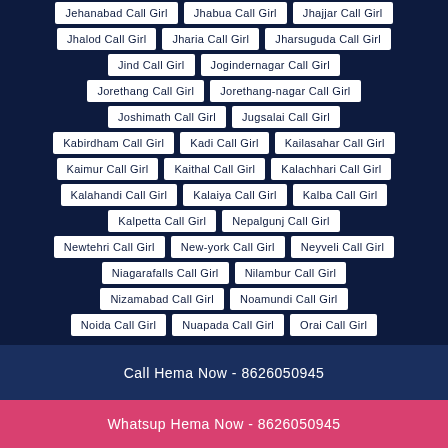Jehanabad Call Girl | Jhabua Call Girl | Jhajjar Call Girl
Jhalod Call Girl | Jharia Call Girl | Jharsuguda Call Girl
Jind Call Girl | Jogindernagar Call Girl
Jorethang Call Girl | Jorethang-nagar Call Girl
Joshimath Call Girl | Jugsalai Call Girl
Kabirdham Call Girl | Kadi Call Girl | Kailasahar Call Girl
Kaimur Call Girl | Kaithal Call Girl | Kalachhari Call Girl
Kalahandi Call Girl | Kalaiya Call Girl | Kalba Call Girl
Kalpetta Call Girl | Nepalgunj Call Girl
Newtehri Call Girl | New-york Call Girl | Neyveli Call Girl
Niagarafalls Call Girl | Nilambur Call Girl
Nizamabad Call Girl | Noamundi Call Girl
Noida Call Girl | Nuapada Call Girl | Orai Call Girl
Call Hema Now - 8626050945
Whatsup Hema Now - 8626050945